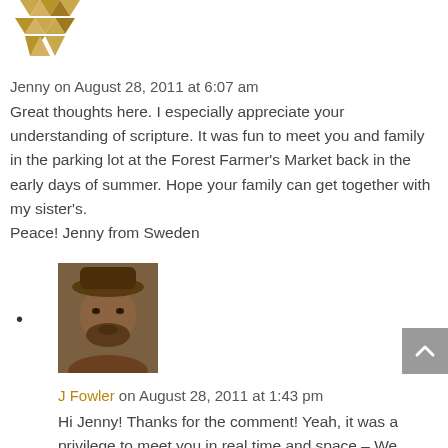[Figure (logo): Golden/tan geometric mosaic logo made of triangular shapes]
Jenny on August 28, 2011 at 6:07 am
Great thoughts here.  I especially appreciate your understanding of scripture.  It was fun to meet you and family in the parking lot at the Forest Farmer’s Market back in the early days of summer.  Hope your family can get together with my sister’s.
Peace! Jenny from Sweden
[Figure (photo): Profile photo of J Fowler — a man with a beard wearing a hat, outdoor setting]
J Fowler on August 28, 2011 at 1:43 pm
Hi Jenny! Thanks for the comment! Yeah, it was a privilege to meet you in real time and space    – We hope to visit Holly soon and the next time we are in the State...